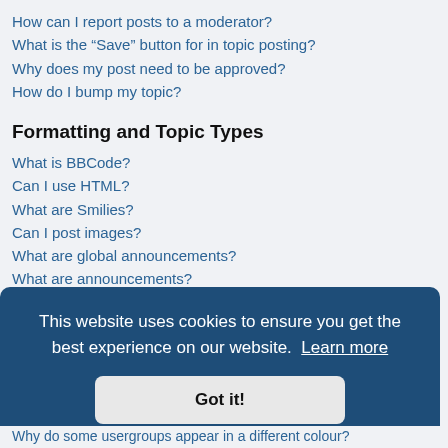How can I report posts to a moderator?
What is the “Save” button for in topic posting?
Why does my post need to be approved?
How do I bump my topic?
Formatting and Topic Types
What is BBCode?
Can I use HTML?
What are Smilies?
Can I post images?
What are global announcements?
What are announcements?
What are sticky topics?
What are locked topics?
What are topic icons?
This website uses cookies to ensure you get the best experience on our website. Learn more
Got it!
Why do some usergroups appear in a different colour?